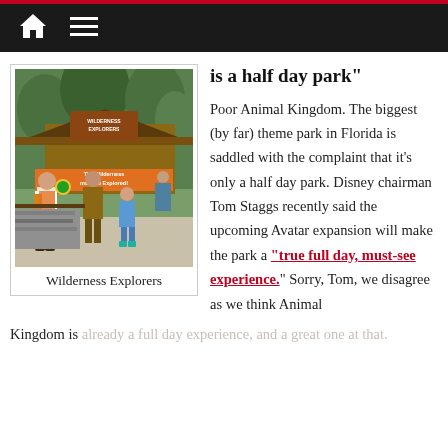Navigation header with home and menu icons
[Figure (photo): Photo of Wilderness Explorers station at Animal Kingdom with a Disney cast member in scout uniform interacting with park guests including children, in front of a wooden structure with orange banner reading 'The Wilderness must be Explored']
Wilderness Explorers
is a half day park"

Poor Animal Kingdom. The biggest (by far) theme park in Florida is saddled with the complaint that it’s only a half day park. Disney chairman Tom Staggs recently said the upcoming Avatar expansion will make the park a “true full day, must-see experience.” Sorry, Tom, we disagree as we think Animal Kingdom is already a full day experience, and a great one at that.